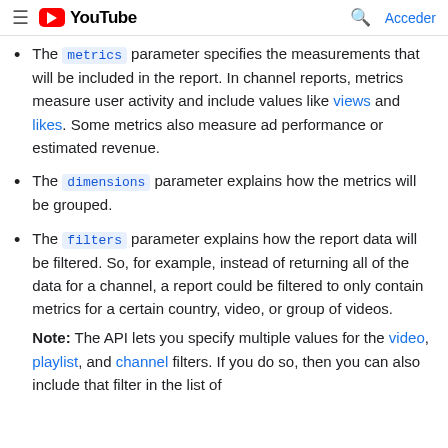≡  YouTube   🔍  Acceder
The metrics parameter specifies the measurements that will be included in the report. In channel reports, metrics measure user activity and include values like views and likes. Some metrics also measure ad performance or estimated revenue.
The dimensions parameter explains how the metrics will be grouped.
The filters parameter explains how the report data will be filtered. So, for example, instead of returning all of the data for a channel, a report could be filtered to only contain metrics for a certain country, video, or group of videos.
Note: The API lets you specify multiple values for the video, playlist, and channel filters. If you do so, then you can also include that filter in the list of